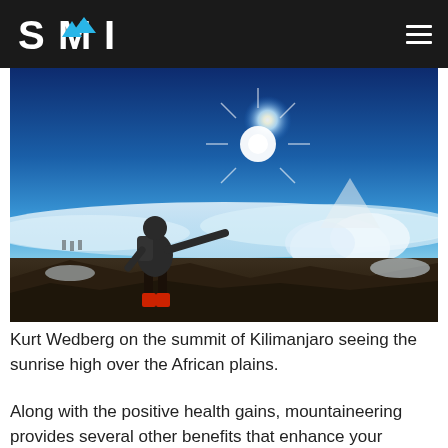SMI
[Figure (photo): A mountaineer silhouetted against a bright sunrise on the summit of Kilimanjaro, standing above a sea of clouds over the African plains, arm outstretched toward the sun.]
Kurt Wedberg on the summit of Kilimanjaro seeing the sunrise high over the African plains.
Along with the positive health gains, mountaineering provides several other benefits that enhance your